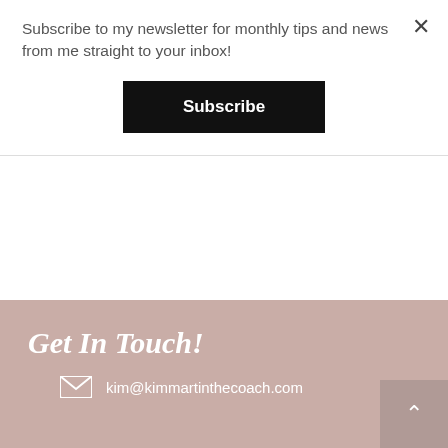Subscribe to my newsletter for monthly tips and news from me straight to your inbox!
Subscribe
Happy New Year! Here's to an enthusiastic buh-bye to 2020. Let's start 2021 off right by setting achievable and motivating goals before January is over! My primary advice is to write professional and personal goals down somewhere you won't lose track of throughout the year and can reference as needed, like in your planner or...
Read More
Get In Touch!
kim@kimmartinthecoach.com